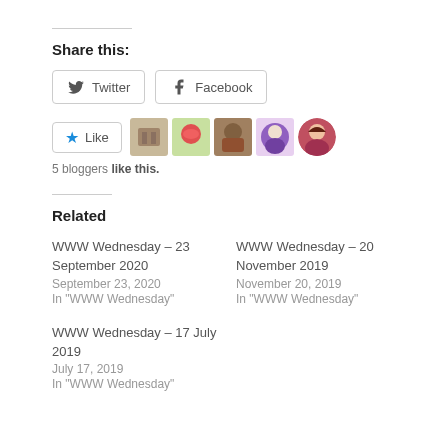Share this:
Twitter  Facebook
[Figure (other): Like button with 5 blogger avatars]
5 bloggers like this.
Related
WWW Wednesday – 23 September 2020
September 23, 2020
In "WWW Wednesday"
WWW Wednesday – 20 November 2019
November 20, 2019
In "WWW Wednesday"
WWW Wednesday – 17 July 2019
July 17, 2019
In "WWW Wednesday"